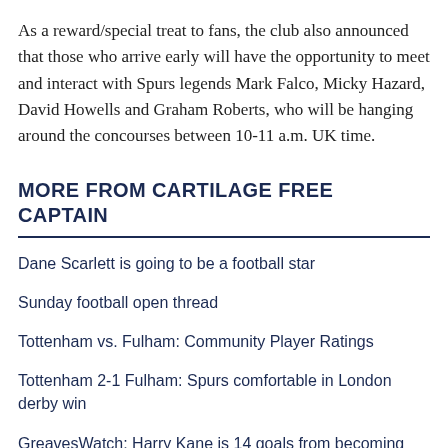As a reward/special treat to fans, the club also announced that those who arrive early will have the opportunity to meet and interact with Spurs legends Mark Falco, Micky Hazard, David Howells and Graham Roberts, who will be hanging around the concourses between 10-11 a.m. UK time.
MORE FROM CARTILAGE FREE CAPTAIN
Dane Scarlett is going to be a football star
Sunday football open thread
Tottenham vs. Fulham: Community Player Ratings
Tottenham 2-1 Fulham: Spurs comfortable in London derby win
GreavesWatch: Harry Kane is 14 goals from becoming